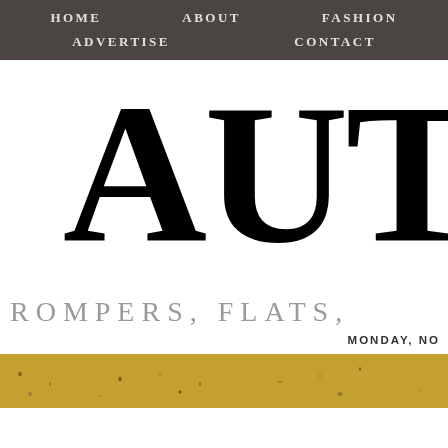HOME   ABOUT   FASHION   ADVERTISE   CONTACT
AUT
ROMPERS, FLATS,
MONDAY, NO
[Figure (photo): Close-up photo of autumn leaves or dried foliage in golden yellow tones]